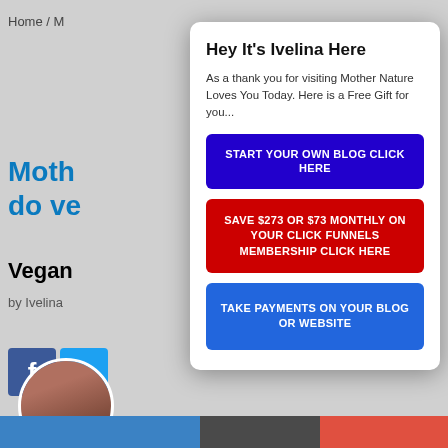Home / M
Moth do ve
Vegan
by Ivelina
Hey It's Ivelina Here
As a thank you for visiting Mother Nature Loves You Today.  Here is a Free Gift for you...
START YOUR OWN BLOG CLICK HERE
SAVE $273 OR $73 MONTHLY ON YOUR CLICK FUNNELS MEMBERSHIP CLICK HERE
TAKE PAYMENTS ON YOUR BLOG OR WEBSITE